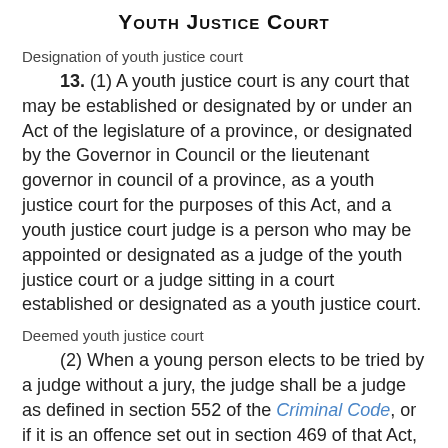Youth Justice Court
Designation of youth justice court
13. (1) A youth justice court is any court that may be established or designated by or under an Act of the legislature of a province, or designated by the Governor in Council or the lieutenant governor in council of a province, as a youth justice court for the purposes of this Act, and a youth justice court judge is a person who may be appointed or designated as a judge of the youth justice court or a judge sitting in a court established or designated as a youth justice court.
Deemed youth justice court
(2) When a young person elects to be tried by a judge without a jury, the judge shall be a judge as defined in section 552 of the Criminal Code, or if it is an offence set out in section 469 of that Act, the judge shall be a judge of the superior court of